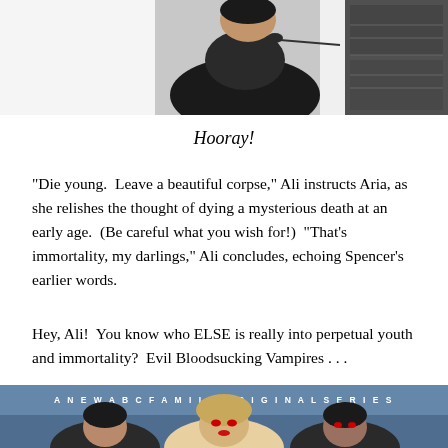[Figure (photo): Top portion of a photo showing a person in dark clothing and what appears to be electronic equipment or filing cabinets in the background]
Hooray!
“Die young.  Leave a beautiful corpse,” Ali instructs Aria, as she relishes the thought of dying a mysterious death at an early age.  (Be careful what you wish for!)  “That’s immortality, my darlings,” Ali concludes, echoing Spencer’s earlier words.
Hey, Ali!  You know who ELSE is really into perpetual youth and immortality?  Evil Bloodsucking Vampires . . .
[Figure (photo): Bottom portion of a promotional image for 'A New ABC Family Original Series' showing three young women with dramatic makeup against a blue/gray sky background]